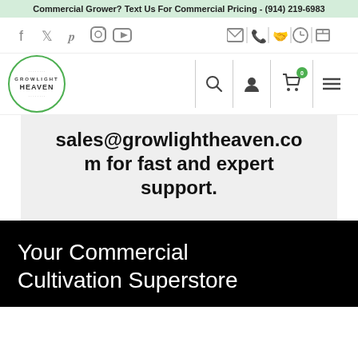Commercial Grower? Text Us For Commercial Pricing - (914) 219-6983
[Figure (screenshot): Navigation icon bar with social media icons (Facebook, Twitter, Pinterest, Instagram, YouTube) on left and utility icons (email, phone, account, clock, shipping) on right]
[Figure (logo): Growlight Heaven circular logo with green border]
[Figure (screenshot): Navigation bar with search, user account, shopping cart (0 items), and menu icons]
sales@growlightheaven.com for fast and expert support.
Your Commercial Cultivation Superstore